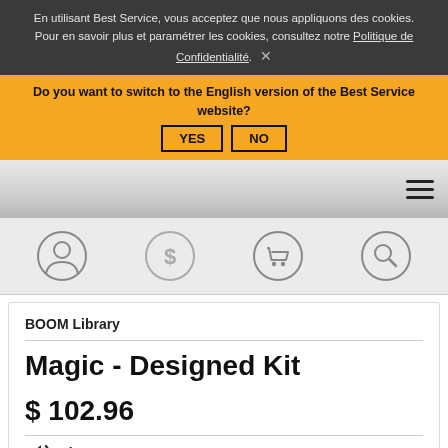En utilisant Best Service, vous acceptez que nous appliquons des cookies. Pour en savoir plus et paramétrer les cookies, consultez notre Politique de Confidentialité. ×
Do you want to switch to the English version of the Best Service website? YES NO
[Figure (screenshot): Navigation bar with hamburger menu icon (three horizontal lines) on right side, gray gradient background]
[Figure (infographic): Icon row with four circular icons: user/profile, dollar sign, shopping cart, and search/magnifying glass]
BOOM Library
Magic - Designed Kit
$ 102.96
ÉCOUTER